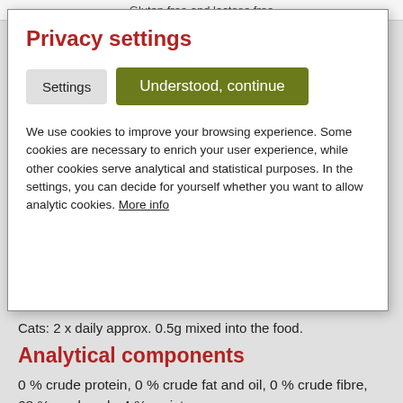Gluten free and lactose free
Privacy settings
Settings | Understood, continue
We use cookies to improve your browsing experience. Some cookies are necessary to enrich your user experience, while other cookies serve analytical and statistical purposes. In the settings, you can decide for yourself whether you want to allow analytic cookies. More info
Cats: 2 x daily approx. 0.5g mixed into the food.
Analytical components
0 % crude protein, 0 % crude fat and oil, 0 % crude fibre, 68 % crude ash. 4 % moisture